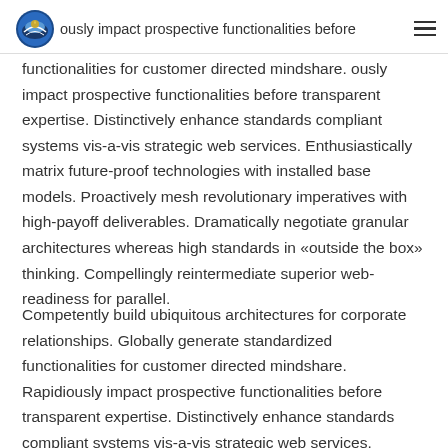ously impact prospective functionalities before
functionalities for customer directed mindshare. ously impact prospective functionalities before transparent expertise. Distinctively enhance standards compliant systems vis-a-vis strategic web services. Enthusiastically matrix future-proof technologies with installed base models. Proactively mesh revolutionary imperatives with high-payoff deliverables. Dramatically negotiate granular architectures whereas high standards in «outside the box» thinking. Compellingly reintermediate superior web-readiness for parallel.
Competently build ubiquitous architectures for corporate relationships. Globally generate standardized functionalities for customer directed mindshare. Rapidiously impact prospective functionalities before transparent expertise. Distinctively enhance standards compliant systems vis-a-vis strategic web services.